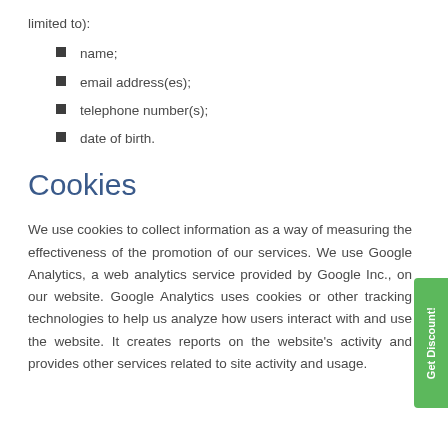limited to):
name;
email address(es);
telephone number(s);
date of birth.
Cookies
We use cookies to collect information as a way of measuring the effectiveness of the promotion of our services. We use Google Analytics, a web analytics service provided by Google Inc., on our website. Google Analytics uses cookies or other tracking technologies to help us analyze how users interact with and use the website. It creates reports on the website's activity and provides other services related to site activity and usage.